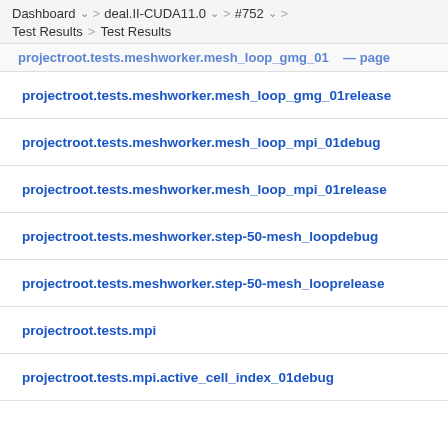Dashboard > deal.II-CUDA11.0 > #752 > Test Results > Test Results
projectroot.tests.meshworker.mesh_loop_gmg_01release
projectroot.tests.meshworker.mesh_loop_mpi_01debug
projectroot.tests.meshworker.mesh_loop_mpi_01release
projectroot.tests.meshworker.step-50-mesh_loopdebug
projectroot.tests.meshworker.step-50-mesh_looprelease
projectroot.tests.mpi
projectroot.tests.mpi.active_cell_index_01debug